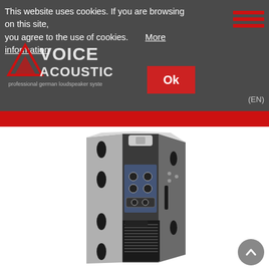This website uses cookies. If you are browsing on this site, you agree to the use of cookies.   More information   Ok
[Figure (photo): Back view of a professional loudspeaker cabinet (Voice Acoustics brand) showing amplifier panel, connectors, and textured enclosure with handles]
[Figure (logo): Voice Acoustics logo with triangle/mountain graphic and text 'professional german loudspeaker systems']